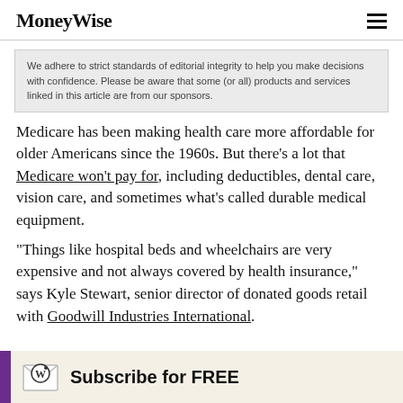MoneyWise
We adhere to strict standards of editorial integrity to help you make decisions with confidence. Please be aware that some (or all) products and services linked in this article are from our sponsors.
Medicare has been making health care more affordable for older Americans since the 1960s. But there's a lot that Medicare won't pay for, including deductibles, dental care, vision care, and sometimes what's called durable medical equipment.
"Things like hospital beds and wheelchairs are very expensive and not always covered by health insurance," says Kyle Stewart, senior director of donated goods retail with Goodwill Industries International.
[Figure (other): Subscribe for FREE banner with MoneyWise envelope logo icon, purple left bar, and tan background]